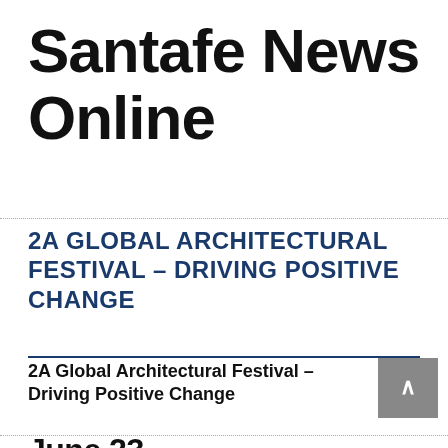Santafe News Online
2A GLOBAL ARCHITECTURAL FESTIVAL – DRIVING POSITIVE CHANGE
2A Global Architectural Festival – Driving Positive Change
June 23  19:27